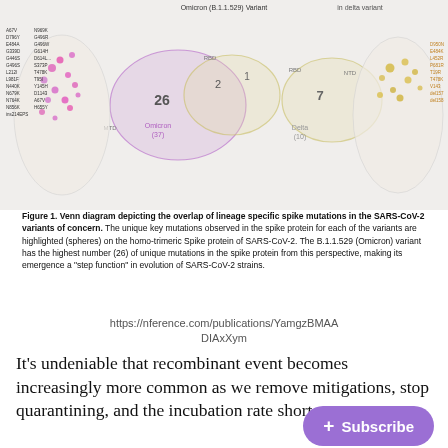[Figure (infographic): Venn diagram showing overlap of lineage specific spike mutations in SARS-CoV-2 variants of concern (Omicron and Delta), with protein structure visualizations on left and right showing highlighted mutations as colored spheres on the homo-trimeric Spike protein.]
Figure 1. Venn diagram depicting the overlap of lineage specific spike mutations in the SARS-CoV-2 variants of concern. The unique key mutations observed in the spike protein for each of the variants are highlighted (spheres) on the homo-trimeric Spike protein of SARS-CoV-2. The B.1.1.529 (Omicron) variant has the highest number (26) of unique mutations in the spike protein from this perspective, making its emergence a "step function" in evolution of SARS-CoV-2 strains.
https://nference.com/publications/YamgzBMAADIAxXym
It’s undeniable that recombinant event becomes increasingly more common as we remove mitigations, stop quarantining, and the incubation rate shortens.
This is the transfer point from BA.1 as it becomes BA1.1. post recombinant event.
B.35, an Alpha variety, combined with Delta to make BA1.1529.